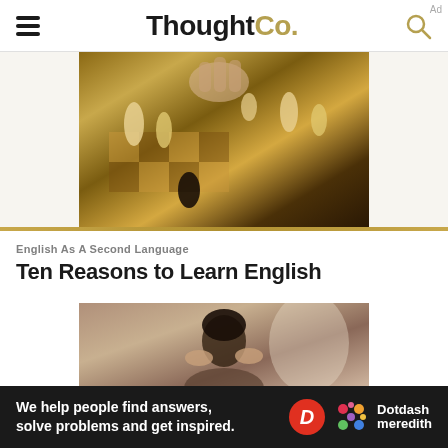ThoughtCo.
[Figure (photo): Close-up photo of a chess game with golden chess pieces on a wooden board, a hand moving a piece]
English As A Second Language
Ten Reasons to Learn English
[Figure (photo): Photo of a woman with dark hair pulled back, holding her head in her hands, appearing stressed or studying]
We help people find answers, solve problems and get inspired.